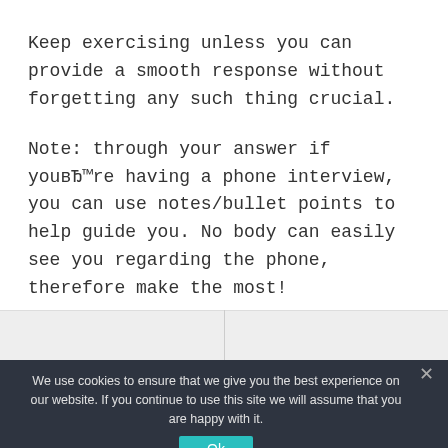Keep exercising unless you can provide a smooth response without forgetting any such thing crucial.
Note: through your answer if youвЂ™re having a phone interview, you can use notes/bullet points to help guide you. No body can easily see you regarding the phone, therefore make the most!
We use cookies to ensure that we give you the best experience on our website. If you continue to use this site we will assume that you are happy with it.